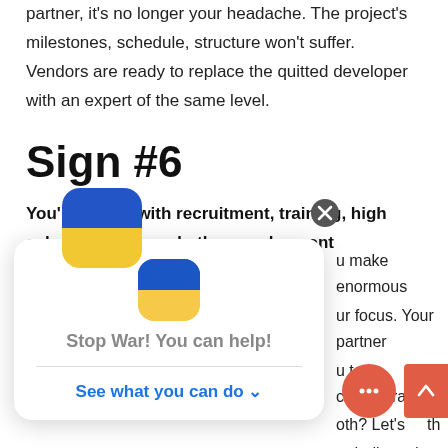partner, it's no longer your headache. The project's milestones, schedule, structure won't suffer. Vendors are ready to replace the quitted developer with an expert of the same level.
Sign #6
You're fed up with recruitment, training, high salaries, taxes, and other employment drawbacks.
All this ... [partially obscured] ... make enormous ... our focus. Your partner ... you to concentrate on ... oth? Let's ... th ... a dedicated team model.
[Figure (infographic): Popup dialog with Ukrainian flag icon, text 'Stop War! You can help!' and link 'See what you can do ↓']
[Figure (other): Close (X) button for popup]
[Figure (other): Red chat bubble button with ellipsis icon]
[Figure (other): Red scroll-to-top button with upward arrow]